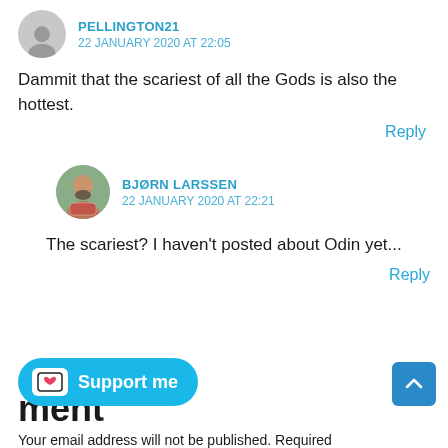PELLINGTON21
22 JANUARY 2020 AT 22:05
Dammit that the scariest of all the Gods is also the hottest.
Reply
[Figure (photo): Circular avatar photo of Bjorn Larssen, a bearded man]
BJØRN LARSSEN
22 JANUARY 2020 AT 22:21
The scariest? I haven't posted about Odin yet...
Reply
ment
Your email address will not be published. Required